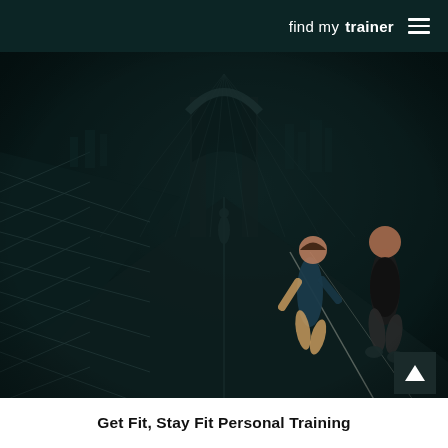find my trainer
[Figure (photo): People running on the Brooklyn Bridge walkway, dark teal-tinted atmospheric photo. A woman in blue top and shorts and a man in dark clothes jog in the foreground; another person walks in the distance. The bridge's iconic Gothic arches are visible in the background.]
Get Fit, Stay Fit Personal Training